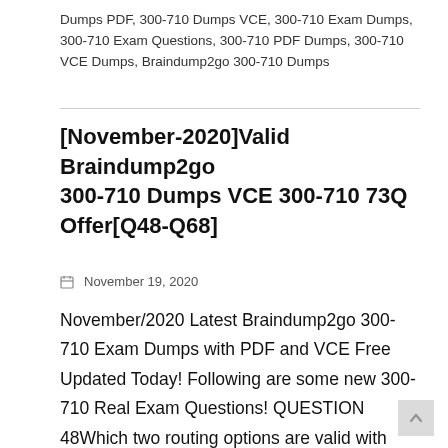Dumps PDF, 300-710 Dumps VCE, 300-710 Exam Dumps, 300-710 Exam Questions, 300-710 PDF Dumps, 300-710 VCE Dumps, Braindump2go 300-710 Dumps
[November-2020]Valid Braindump2go 300-710 Dumps VCE 300-710 73Q Offer[Q48-Q68]
November 19, 2020
November/2020 Latest Braindump2go 300-710 Exam Dumps with PDF and VCE Free Updated Today! Following are some new 300-710 Real Exam Questions! QUESTION 48Which two routing options are valid with Cisco Firepower Threat Defense? (Choose two.) A. BGPv6B. ECMP with up